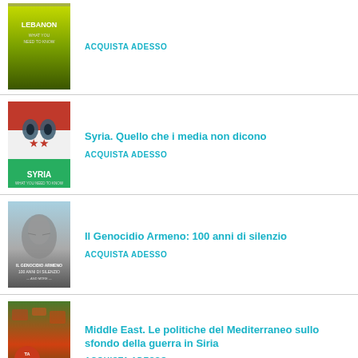[Figure (illustration): Book cover: Lebanon]
ACQUISTA ADESSO
[Figure (illustration): Book cover: Syria]
Syria. Quello che i media non dicono
ACQUISTA ADESSO
[Figure (illustration): Book cover: Il Genocidio Armeno]
Il Genocidio Armeno: 100 anni di silenzio
ACQUISTA ADESSO
[Figure (illustration): Book cover: Middle East]
Middle East. Le politiche del Mediterraneo sullo sfondo della guerra in Siria
ACQUISTA ADESSO
[Figure (logo): Sponda Sud News media partner logo with red S2 circle]
sponda sud news
media partner